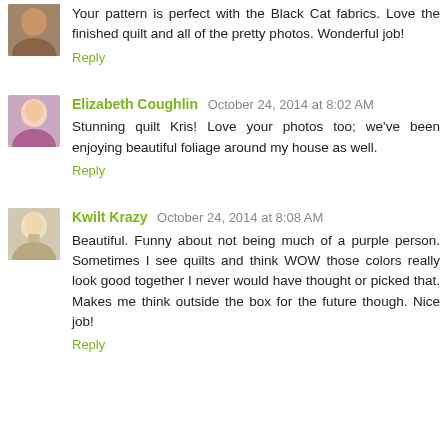Your pattern is perfect with the Black Cat fabrics. Love the finished quilt and all of the pretty photos. Wonderful job!
Reply
Elizabeth Coughlin October 24, 2014 at 8:02 AM
Stunning quilt Kris! Love your photos too; we've been enjoying beautiful foliage around my house as well.
Reply
Kwilt Krazy October 24, 2014 at 8:08 AM
Beautiful. Funny about not being much of a purple person. Sometimes I see quilts and think WOW those colors really look good together I never would have thought or picked that. Makes me think outside the box for the future though. Nice job!
Reply